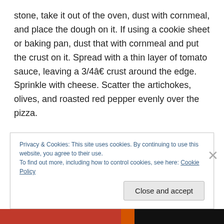stone, take it out of the oven, dust with cornmeal, and place the dough on it. If using a cookie sheet or baking pan, dust that with cornmeal and put the crust on it. Spread with a thin layer of tomato sauce, leaving a 3/4â€ crust around the edge. Sprinkle with cheese. Scatter the artichokes, olives, and roasted red pepper evenly over the pizza.

Bake for 10 minutes and check to see if the cheese is melted and the crust is cooked through (lift with a spatula. If it feels hard, itâ€™s ready). If not done, bake for another
Privacy & Cookies: This site uses cookies. By continuing to use this website, you agree to their use.
To find out more, including how to control cookies, see here: Cookie Policy